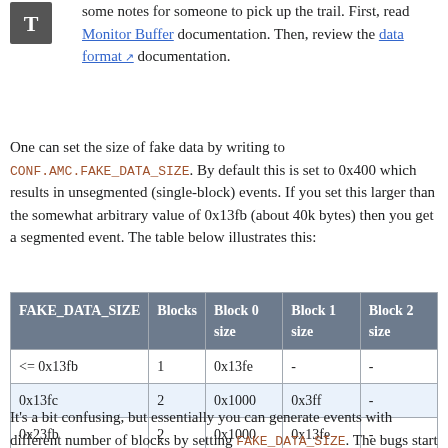some notes for someone to pick up the trail. First, read Monitor Buffer documentation. Then, review the data format documentation.
One can set the size of fake data by writing to CONF.AMC.FAKE_DATA_SIZE. By default this is set to 0x400 which results in unsegmented (single-block) events. If you set this larger than the somewhat arbitrary value of 0x13fb (about 40k bytes) then you get a segmented event. The table below illustrates this:
| FAKE_DATA_SIZE | Blocks | Block 0 size | Block 1 size | Block 2 size |
| --- | --- | --- | --- | --- |
| <= 0x13fb | 1 | 0x13fe | - | - |
| 0x13fc | 2 | 0x1000 | 0x3ff | - |
| 0x23fb | 2 | 0x1000 | 0x13fe | - |
| 0x23fc | 3 | 0x1000 | 0x1000 | 0x3ff |
| 0x3000 | 3 | 0x1000 | 0x1000 | 0x1003 |
It's a bit confusing, but essentially you can generate events with different number of blocks by setting FAKE_DATA_SIZE. The bugs start when you have e.g. 2 free buffers and try to store an